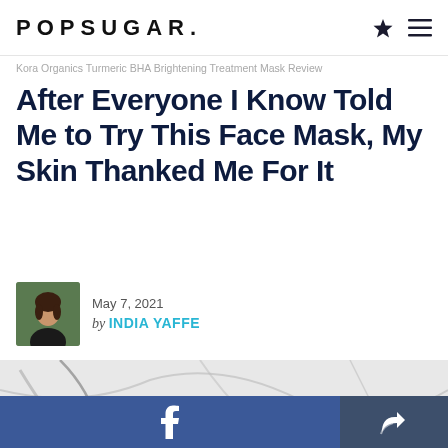POPSUGAR.
Kora Organics Turmeric BHA Brightening Treatment Mask Review
After Everyone I Know Told Me to Try This Face Mask, My Skin Thanked Me For It
May 7, 2021 by INDIA YAFFE
[Figure (photo): Close-up photo of a rose-gold/bronze tube of face mask product on a white marble surface]
[Figure (other): Facebook share button bar (blue) and a share/forward icon button (dark navy)]